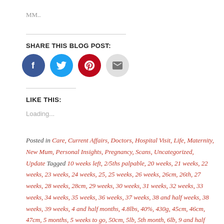MM..
SHARE THIS BLOG POST:
[Figure (infographic): Social share buttons: Facebook (blue circle), Twitter (blue circle), Pinterest (red circle), Email (grey circle)]
LIKE THIS:
Loading...
Posted in Care, Current Affairs, Doctors, Hospital Visit, Life, Maternity, New Mum, Personal Insights, Pregnancy, Scans, Uncategorized, Update   Tagged 10 weeks left, 2/5ths palpable, 20 weeks, 21 weeks, 22 weeks, 23 weeks, 24 weeks, 25, 25 weeks, 26 weeks, 26cm, 26th, 27 weeks, 28 weeks, 28cm, 29 weeks, 30 weeks, 31 weeks, 32 weeks, 33 weeks, 34 weeks, 35 weeks, 36 weeks, 37 weeks, 38 and half weeks, 38 weeks, 39 weeks, 4 and half months, 4.8lbs, 40%, 430g, 45cm, 46cm, 47cm, 5 months, 5 weeks to go, 50cm, 5lb, 5th month, 6lb, 9 and half lbs, ache, acne, active, activities, activity, actual, advice, agony, air, alarm, alive, amaze, amniotic fluid, annual